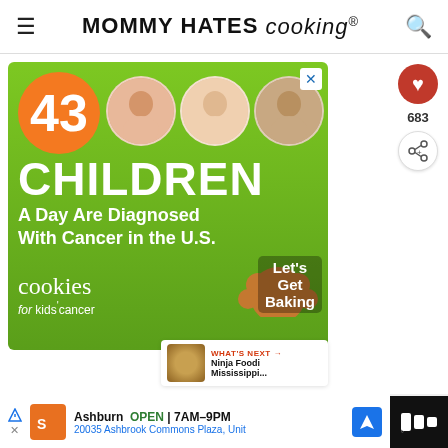MOMMY HATES cooking
[Figure (infographic): Advertisement banner for Cookies for Kids' Cancer. Green background with orange circle containing '43', photos of three children in circles, text '43 CHILDREN A Day Are Diagnosed With Cancer in the U.S.' and 'cookies for kids cancer - Let's Get Baking']
WHAT'S NEXT → Ninja Foodi Mississippi...
Ashburn OPEN | 7AM–9PM  20035 Ashbrook Commons Plaza, Unit